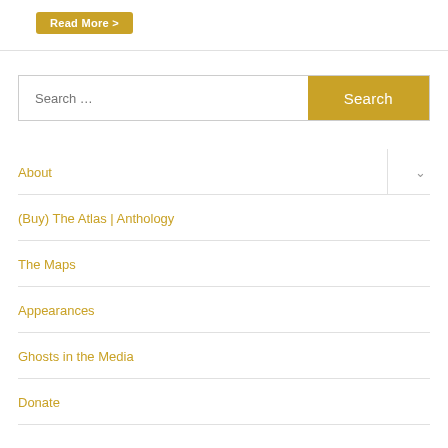Read More >
About
(Buy) The Atlas | Anthology
The Maps
Appearances
Ghosts in the Media
Donate